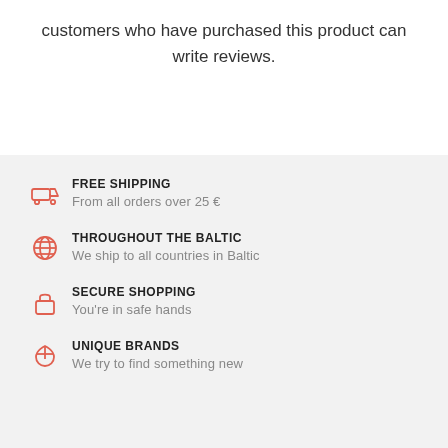customers who have purchased this product can write reviews.
FREE SHIPPING
From all orders over 25 €
THROUGHOUT THE BALTIC
We ship to all countries in Baltic
SECURE SHOPPING
You're in safe hands
UNIQUE BRANDS
We try to find something new